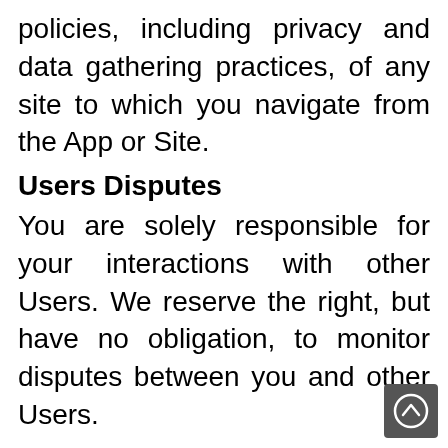policies, including privacy and data gathering practices, of any site to which you navigate from the App or Site.
Users Disputes
You are solely responsible for your interactions with other Users. We reserve the right, but have no obligation, to monitor disputes between you and other Users.
Privacy
Please review the Privacy Policy. By using the App, the Site or the Service, you are consenting to have your personal data transferred to and processed in the United States. We may listen to and record phone calls between you and our